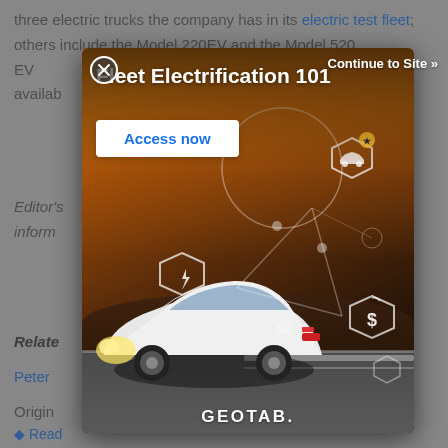three electric trucks the company has in its electric test fleet; others include the Model 220EV and the Model 520 EV                                               will be available                                          in the second
Editor's                                                        inform
Related
Peterm
Originally
Read
[Figure (screenshot): Advertisement modal overlay for GEOTAB Fleet Electrification 101. Shows a white electric car from behind driving on a road at sunset with hexagonal icons representing EV features. Has a close button (X), 'Continue to Site »' link, bold title 'Fleet Electrification 101', white 'Access now' button, and GEOTAB logo at bottom.]